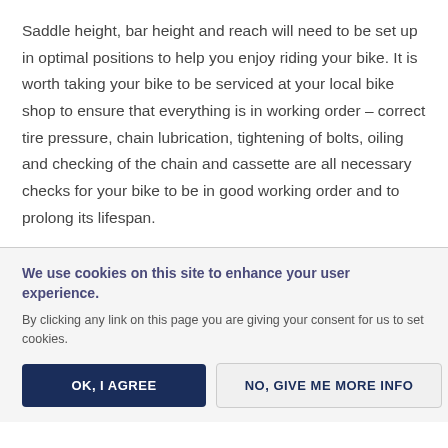Saddle height, bar height and reach will need to be set up in optimal positions to help you enjoy riding your bike. It is worth taking your bike to be serviced at your local bike shop to ensure that everything is in working order – correct tire pressure, chain lubrication, tightening of bolts, oiling and checking of the chain and cassette are all necessary checks for your bike to be in good working order and to prolong its lifespan.
We use cookies on this site to enhance your user experience.
By clicking any link on this page you are giving your consent for us to set cookies.
OK, I AGREE
NO, GIVE ME MORE INFO